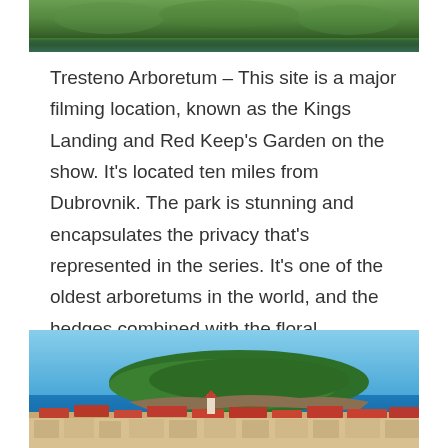[Figure (photo): Top portion of a photo showing green trees and water reflection, likely the Tresteno Arboretum]
Tresteno Arboretum – This site is a major filming location, known as the Kings Landing and Red Keep's Garden on the show. It's located ten miles from Dubrovnik. The park is stunning and encapsulates the privacy that's represented in the series. It's one of the oldest arboretums in the world, and the hedges combined with the floral selections are immaculate.
[Figure (photo): Photo of a green island surrounded by blue sea with a coastal city with red rooftops in the foreground, likely Dubrovnik, Croatia]